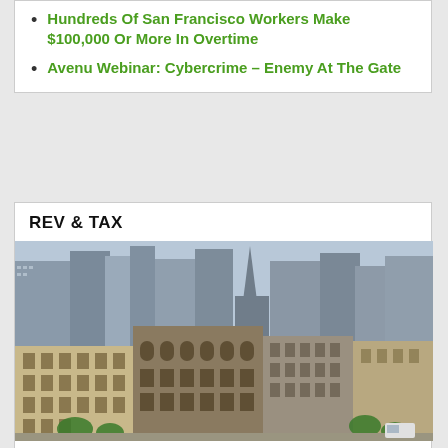Hundreds Of San Francisco Workers Make $100,000 Or More In Overtime
Avenu Webinar: Cybercrime – Enemy At The Gate
REV & TAX
[Figure (photo): Aerial/elevated view of San Francisco downtown buildings and skyscrapers, showing historic and modern architecture]